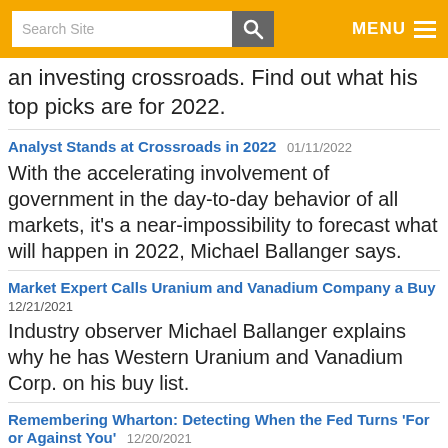Search Site | MENU
an investing crossroads. Find out what his top picks are for 2022.
Analyst Stands at Crossroads in 2022  01/11/2022
With the accelerating involvement of government in the day-to-day behavior of all markets, it's a near-impossibility to forecast what will happen in 2022, Michael Ballanger says.
Market Expert Calls Uranium and Vanadium Company a Buy  12/21/2021
Industry observer Michael Ballanger explains why he has Western Uranium and Vanadium Corp. on his buy list.
Remembering Wharton: Detecting When the Fed Turns 'For or Against You'  12/20/2021
Precious metals expert Michael Ballanger